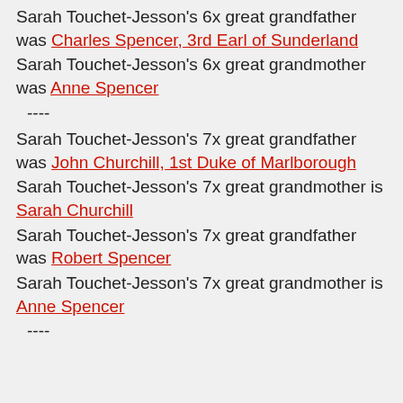Sarah Touchet-Jesson's 6x great grandfather was Charles Spencer, 3rd Earl of Sunderland
Sarah Touchet-Jesson's 6x great grandmother was Anne Spencer
----
Sarah Touchet-Jesson's 7x great grandfather was John Churchill, 1st Duke of Marlborough
Sarah Touchet-Jesson's 7x great grandmother is Sarah Churchill
Sarah Touchet-Jesson's 7x great grandfather was Robert Spencer
Sarah Touchet-Jesson's 7x great grandmother is Anne Spencer
----